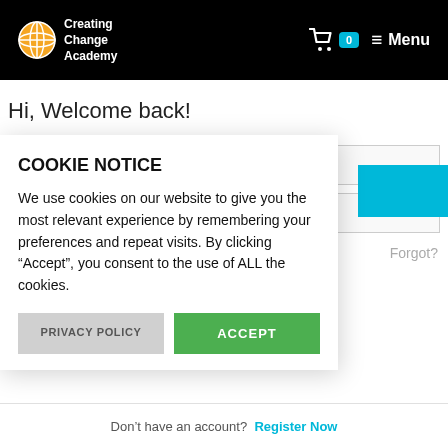[Figure (logo): Creating Change Academy logo with globe icon on black header background]
Hi, Welcome back!
Username or Email Address (form field placeholder)
COOKIE NOTICE
We use cookies on our website to give you the most relevant experience by remembering your preferences and repeat visits. By clicking “Accept”, you consent to the use of ALL the cookies.
PRIVACY POLICY
ACCEPT
Forgot?
Don’t have an account?  Register Now